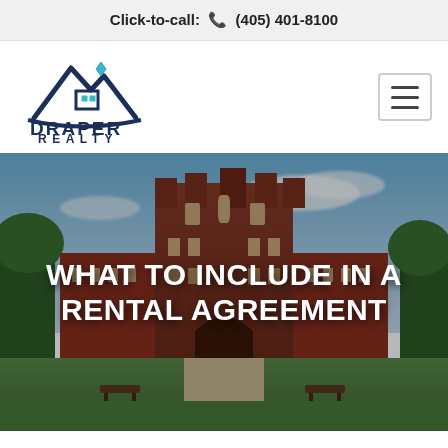Click-to-call: ☎ (405) 401-8100
[Figure (logo): Draper Realty logo with mountain/house roofline icon and diamond, dark blue text reading DRAPER REALTY]
[Figure (photo): Photograph of a large red-brick university building (Bizzell Memorial Library at University of Oklahoma) with blue sky, trees, and a foreground plaza with benches. Overlaid bold white text: WHAT TO INCLUDE IN A RENTAL AGREEMENT]
WHAT TO INCLUDE IN A RENTAL AGREEMENT